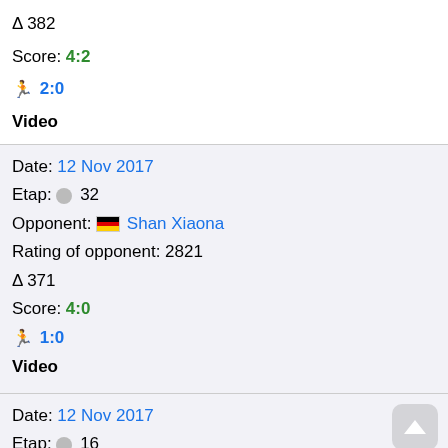Δ 382
Score: 4:2
🏃 2:0
Video
Date: 12 Nov 2017
Etap: 🏆 32
Opponent: 🇩🇪 Shan Xiaona
Rating of opponent: 2821
Δ 371
Score: 4:0
🏃 1:0
Video
Date: 12 Nov 2017
Etap: 🏆 16
Opponent: 🇨🇳 Zhu Yuling
Rating of opponent: 3416
Δ 966
Score: 0:4
🏃 1:4
Video